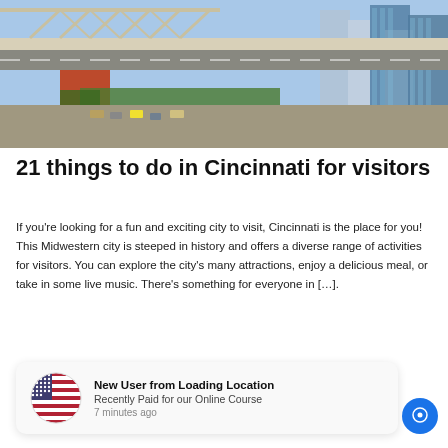[Figure (photo): Aerial/street-level photo of Cincinnati with a large steel truss bridge in the foreground and city skyscrapers in the background]
21 things to do in Cincinnati for visitors
If you're looking for a fun and exciting city to visit, Cincinnati is the place for you! This Midwestern city is steeped in history and offers a diverse range of activities for visitors. You can explore the city's many attractions, enjoy a delicious meal, or take in some live music. There's something for everyone in […].
New User from Loading Location
Recently Paid for our Online Course
7 minutes ago